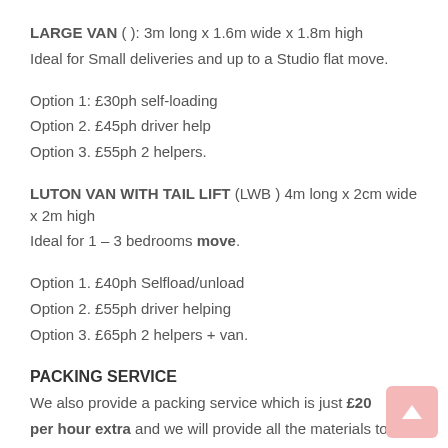LARGE VAN ( ): 3m long x 1.6m wide x 1.8m high Ideal for Small deliveries and up to a Studio flat move.
Option 1: £30ph self-loading
Option 2. £45ph driver help
Option 3. £55ph 2 helpers.
LUTON VAN WITH TAIL LIFT (LWB ) 4m long x 2cm wide x 2m high Ideal for 1 – 3 bedrooms move.
Option 1. £40ph Selfload/unload
Option 2. £55ph driver helping
Option 3. £65ph 2 helpers + van.
PACKING SERVICE
We also provide a packing service which is just £20 per hour extra and we will provide all the materials to